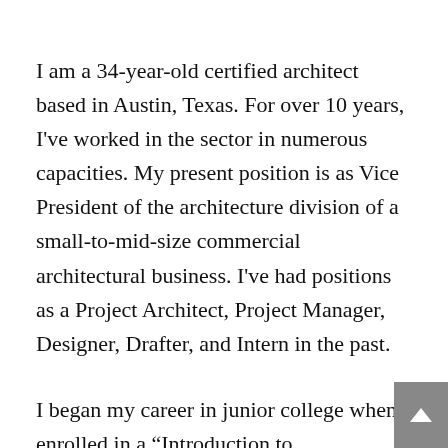I am a 34-year-old certified architect based in Austin, Texas. For over 10 years, I've worked in the sector in numerous capacities. My present position is as Vice President of the architecture division of a small-to-mid-size commercial architectural business. I've had positions as a Project Architect, Project Manager, Designer, Drafter, and Intern in the past.
I began my career in junior college when I enrolled in a “Introduction to Architecture” course and fell in love with the field. I earned a professional Bachelor of Architecture and...